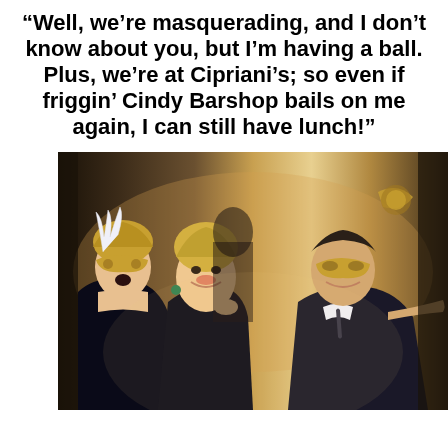“Well, we’re masquerading, and I don’t know about you, but I’m having a ball. Plus, we’re at Cipriani’s; so even if friggin’ Cindy Barshop bails on me again, I can still have lunch!”
[Figure (photo): Three people at a masquerade party wearing gold masks and black formal attire, smiling and celebrating. Two women and one man visible, with additional people in the background.]